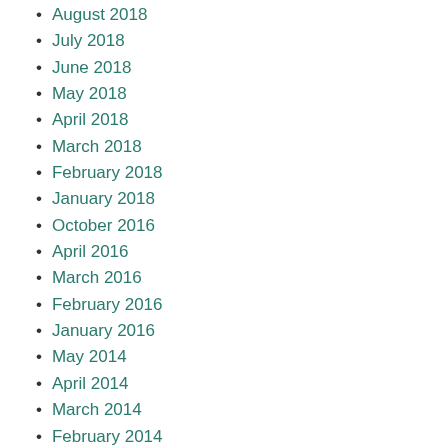August 2018
July 2018
June 2018
May 2018
April 2018
March 2018
February 2018
January 2018
October 2016
April 2016
March 2016
February 2016
January 2016
May 2014
April 2014
March 2014
February 2014
January 2014
December 2013
October 2013
August 2013
July 2013
June 2013